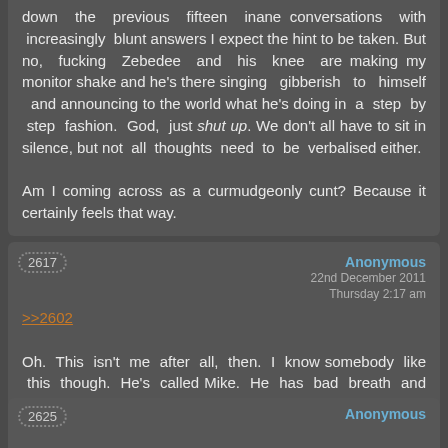down the previous fifteen inane conversations with increasingly blunt answers I expect the hint to be taken. But no, fucking Zebedee and his knee are making my monitor shake and he's there singing gibberish to himself and announcing to the world what he's doing in a step by step fashion. God, just shut up. We don't all have to sit in silence, but not all thoughts need to be verbalised either.

Am I coming across as a curmudgeonly cunt? Because it certainly feels that way.
2617
Anonymous
22nd December 2011
Thursday 2:17 am
>>2602
Oh. This isn't me after all, then. I know somebody like this though. He's called Mike. He has bad breath and has no concept of personal space and frequently gets too close for comfort.
2625
Anonymous